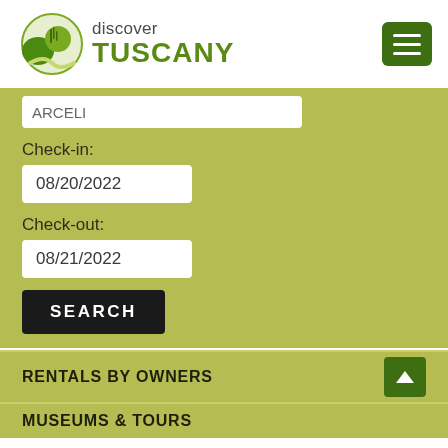[Figure (logo): Discover Tuscany logo with green tree/landscape icon and text]
ARCELI (partially visible input field)
Check-in:
08/20/2022
Check-out:
08/21/2022
SEARCH
RENTALS BY OWNERS
MUSEUMS & TOURS